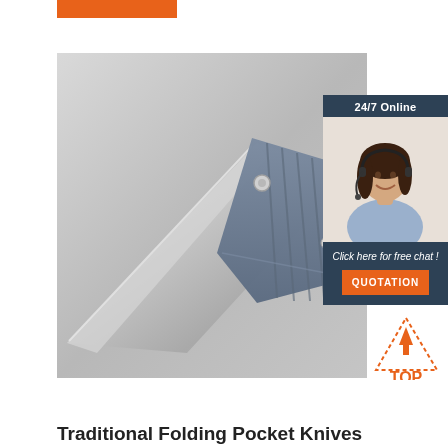[Figure (other): Orange navigation bar button at top]
[Figure (photo): Photograph of a folding pocket knife with blue/grey textured handle and stainless steel blade, open position, on grey background]
[Figure (other): 24/7 Online chat widget with photo of female customer service agent wearing headset, 'Click here for free chat!' text, and orange QUOTATION button]
[Figure (other): TOP badge icon with dotted orange triangle and orange TOP text]
Traditional Folding Pocket Knives